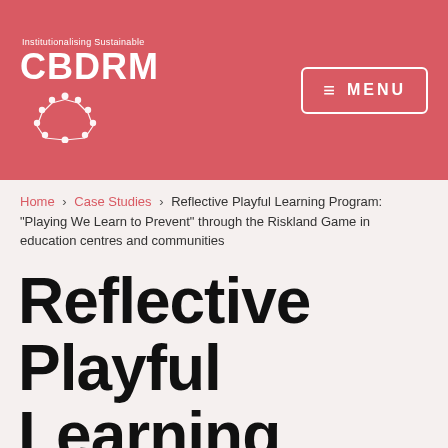[Figure (logo): CBDRM Institutionalising Sustainable logo with people circle icon in coral/red header]
≡ MENU
Home > Case Studies > Reflective Playful Learning Program: "Playing We Learn to Prevent" through the Riskland Game in education centres and communities
Reflective Playful Learning Program: